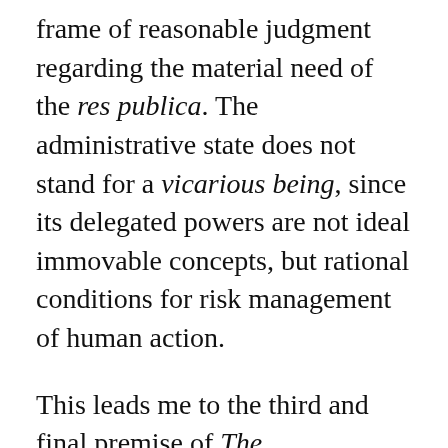frame of reasonable judgment regarding the material need of the res publica. The administrative state does not stand for a vicarious being, since its delegated powers are not ideal immovable concepts, but rational conditions for risk management of human action.
This leads me to the third and final premise of The Administrative Threat. Hamburger does have something to say about the current condition of citizenship, and it comes by way of the libertarian defense of civil rights. The idea here is that the administrative state trumps individual rights